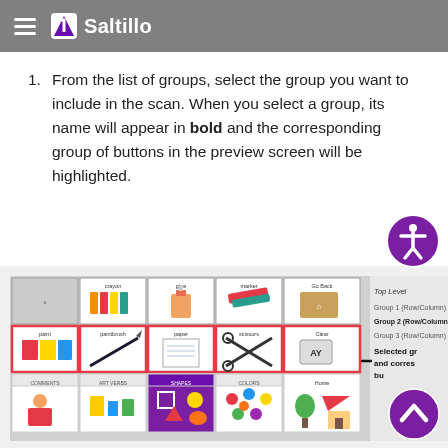Saltillo
From the list of groups, select the group you want to include in the scan. When you select a group, its name will appear in bold and the corresponding group of buttons in the preview screen will be highlighted.
[Figure (screenshot): Screenshot of Saltillo AAC software showing a grid of symbol buttons (crayon, glue, marker, Go Back, paint, paintbrush, paper, scissors, Clear, COMMENTS, ART VERBS, SHAPES, COLORS, Home) with Group 2 highlighted in red border. To the right shows a panel: Top Level, Group 1 (Row/Column), Group 2 (Row/Column) in bold, Group 3 (Row/Column). An arrow points to the highlighted row with label 'Selected gr... and corres... bu...' Two circular purple buttons visible: accessibility icon top right and scroll-up icon bottom right.]